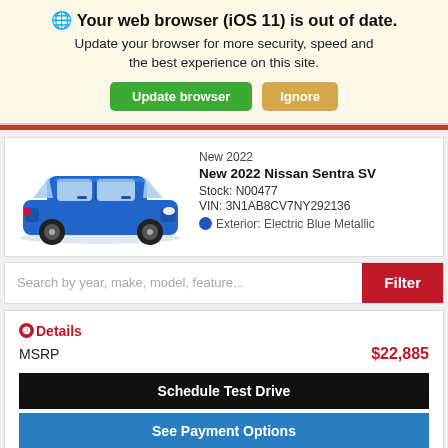🌐 Your web browser (iOS 11) is out of date. Update your browser for more security, speed and the best experience on this site.
Update browser | Ignore
New 2022
New 2022 Nissan Sentra SV
Stock: N00477
VIN: 3N1AB8CV7NY292136
Exterior: Electric Blue Metallic
Search by year, make, model, feature...
Filter
❷Details
MSRP $22,885
Schedule Test Drive
See Payment Options